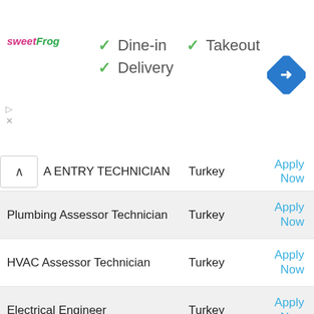[Figure (screenshot): Ad banner for sweetFrog showing Dine-in, Takeout, Delivery options with checkmarks, a navigation icon, and ad controls]
A ENTRY TECHNICIAN — Turkey — Apply Now
Plumbing Assessor Technician — Turkey — Apply Now
HVAC Assessor Technician — Turkey — Apply Now
Electrical Engineer — Turkey — Apply Now
Fire Protection Assessor Technician — Turkey — Apply Now
Electrical Assessor Technician — Turkey — Apply Now
CIVIL/STRUCTURAL — Turkey — Apply